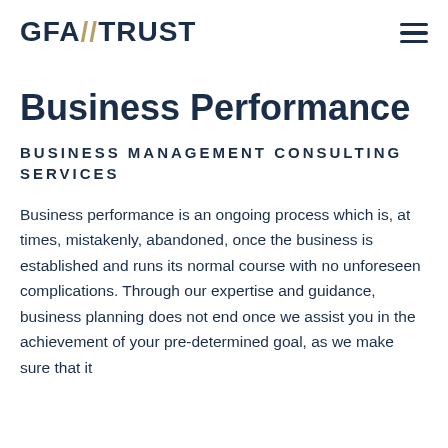GFA//TRUST
Business Performance
Business Management Consulting Services
Business performance is an ongoing process which is, at times, mistakenly, abandoned, once the business is established and runs its normal course with no unforeseen complications. Through our expertise and guidance, business planning does not end once we assist you in the achievement of your pre-determined goal, as we make sure that it